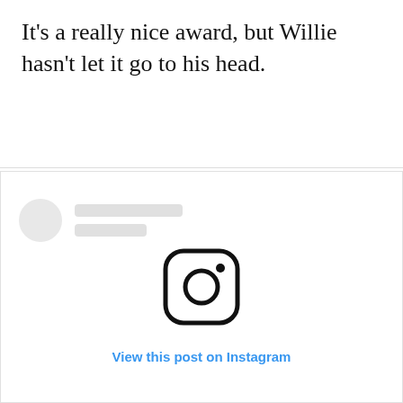It’s a really nice award, but Willie hasn’t let it go to his head.
[Figure (screenshot): Instagram embed placeholder showing a blurred profile row with a gray circle avatar and gray placeholder lines, an Instagram camera icon in the center, and a 'View this post on Instagram' link at the bottom.]